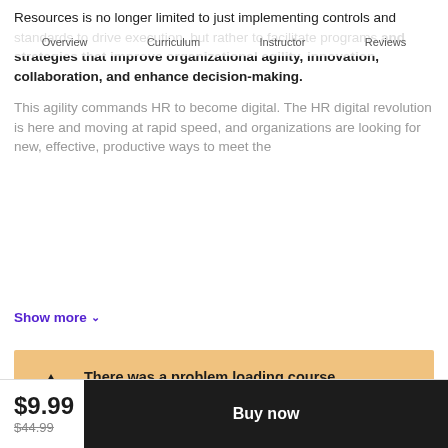Overview | Curriculum | Instructor | Reviews
Resources is no longer limited to just implementing controls and standards to drive execution, but rather to facilitate programs and strategies that improve organizational agility, innovation, collaboration, and enhance decision-making.
This agility commands HR to become digital. The HR digital revolution is here and moving at rapid speed, and organizations are looking for new, effective, productive ways to meet the
Show more ∨
[Figure (screenshot): Warning notification box with amber/tan background showing 'There was a problem loading course recommendations' with a Reload Page button and Dismiss button]
$9.99  $44.99  Buy now